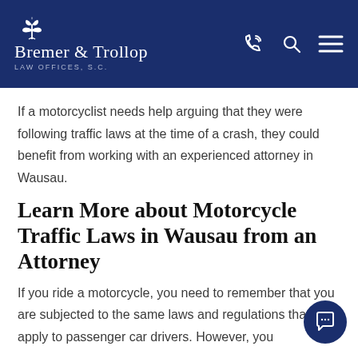Bremer & Trollop Law Offices, S.C.
If a motorcyclist needs help arguing that they were following traffic laws at the time of a crash, they could benefit from working with an experienced attorney in Wausau.
Learn More about Motorcycle Traffic Laws in Wausau from an Attorney
If you ride a motorcycle, you need to remember that you are subjected to the same laws and regulations that apply to passenger car drivers. However, you